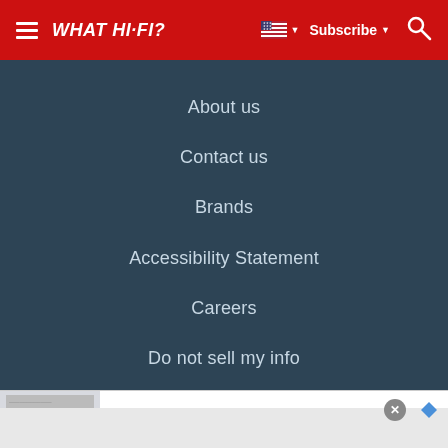WHAT HI-FI?
About us
Contact us
Brands
Accessibility Statement
Careers
Do not sell my info
[Figure (screenshot): Nike advertisement banner: Nike. Just Do It. Inspiring the world's athletes, Nike delivers the deals. www.nike.com]